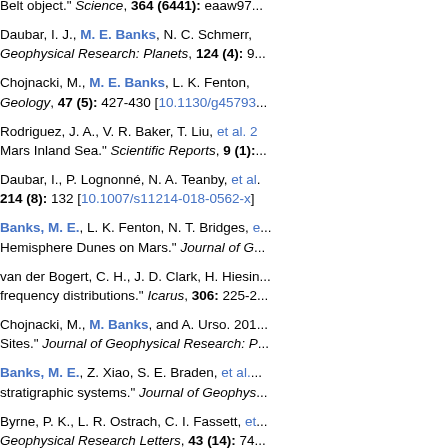Belt object." Science, 364 (6441): eaaw97...
Daubar, I. J., M. E. Banks, N. C. Schmerr,... Geophysical Research: Planets, 124 (4): 9...
Chojnacki, M., M. E. Banks, L. K. Fenton,... Geology, 47 (5): 427-430 [10.1130/g45793...]
Rodriguez, J. A., V. R. Baker, T. Liu, et al. 2... Mars Inland Sea." Scientific Reports, 9 (1):...
Daubar, I., P. Lognonné, N. A. Teanby, et al... 214 (8): 132 [10.1007/s11214-018-0562-x]
Banks, M. E., L. K. Fenton, N. T. Bridges, e... Hemisphere Dunes on Mars." Journal of G...
van der Bogert, C. H., J. D. Clark, H. Hiesin... frequency distributions." Icarus, 306: 225-2...
Chojnacki, M., M. Banks, and A. Urso. 201... Sites." Journal of Geophysical Research: P...
Banks, M. E., Z. Xiao, S. E. Braden, et al.... stratigraphic systems." Journal of Geophys...
Byrne, P. K., L. R. Ostrach, C. I. Fassett, et... Geophysical Research Letters, 43 (14): 74...